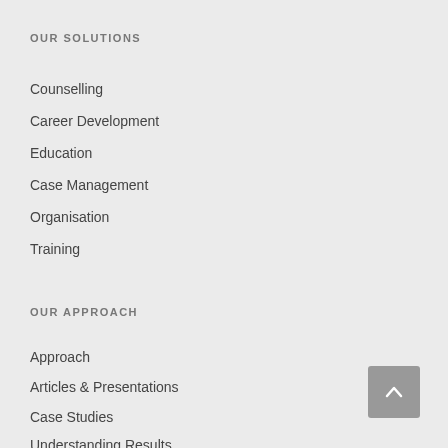OUR SOLUTIONS
Counselling
Career Development
Education
Case Management
Organisation
Training
OUR APPROACH
Approach
Articles & Presentations
Case Studies
Understanding Results